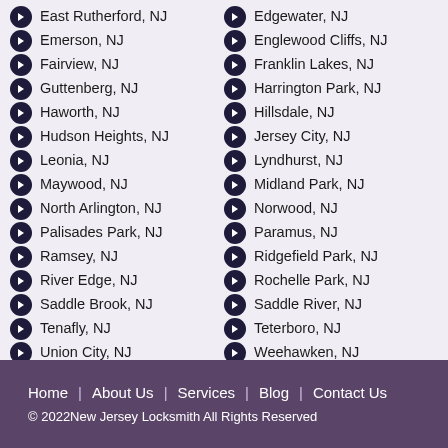East Rutherford, NJ
Emerson, NJ
Fairview, NJ
Guttenberg, NJ
Haworth, NJ
Hudson Heights, NJ
Leonia, NJ
Maywood, NJ
North Arlington, NJ
Palisades Park, NJ
Ramsey, NJ
River Edge, NJ
Saddle Brook, NJ
Tenafly, NJ
Union City, NJ
Westwood, NJ
Fort Lee, NJ
Moonachie, NJ
Township of Washington, NJ
Edgewater, NJ
Englewood Cliffs, NJ
Franklin Lakes, NJ
Harrington Park, NJ
Hillsdale, NJ
Jersey City, NJ
Lyndhurst, NJ
Midland Park, NJ
Norwood, NJ
Paramus, NJ
Ridgefield Park, NJ
Rochelle Park, NJ
Saddle River, NJ
Teterboro, NJ
Weehawken, NJ
Wood Ridge, NJ
Little Ferry, NJ
Oradell, NJ
Home | About Us | Services | Blog | Contact Us
© 2022New Jersey Locksmith All Rights Reserved